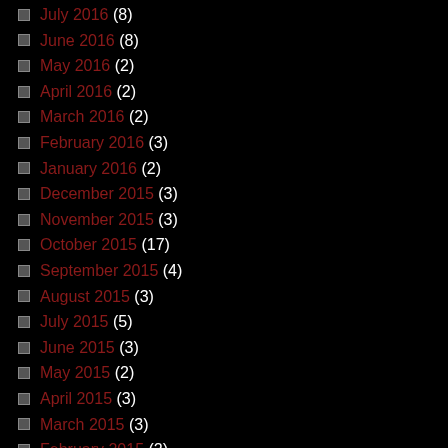July 2016 (8)
June 2016 (8)
May 2016 (2)
April 2016 (2)
March 2016 (2)
February 2016 (3)
January 2016 (2)
December 2015 (3)
November 2015 (3)
October 2015 (17)
September 2015 (4)
August 2015 (3)
July 2015 (5)
June 2015 (3)
May 2015 (2)
April 2015 (3)
March 2015 (3)
February 2015 (2)
January 2015 (3)
December 2014 (8)
November 2014 (8)
October 2014 (35)
September 2014 (5)
August 2014 (10)